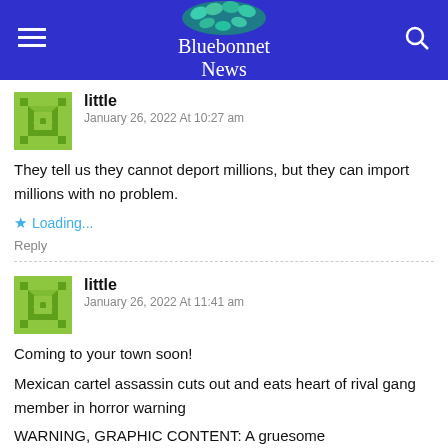Bluebonnet News
little
January 26, 2022 At 10:27 am
They tell us they cannot deport millions, but they can import millions with no problem.
★ Loading...
Reply
little
January 26, 2022 At 11:41 am
Coming to your town soon!
Mexican cartel assassin cuts out and eats heart of rival gang member in horror warning
WARNING, GRAPHIC CONTENT: A gruesome